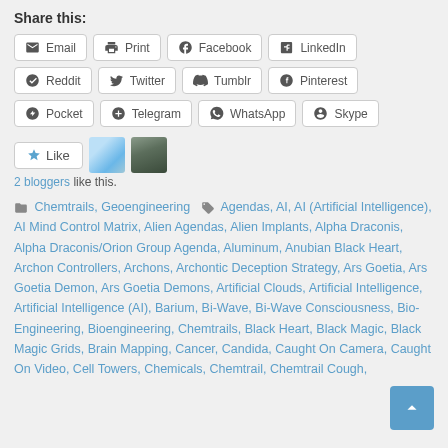Share this:
Email, Print, Facebook, LinkedIn, Reddit, Twitter, Tumblr, Pinterest, Pocket, Telegram, WhatsApp, Skype
[Figure (other): Like button with star icon and two blogger avatars]
2 bloggers like this.
Chemtrails, Geoengineering | Agendas, AI, AI (Artificial Intelligence), AI Mind Control Matrix, Alien Agendas, Alien Implants, Alpha Draconis, Alpha Draconis/Orion Group Agenda, Aluminum, Anubian Black Heart, Archon Controllers, Archons, Archontic Deception Strategy, Ars Goetia, Ars Goetia Demon, Ars Goetia Demons, Artificial Clouds, Artificial Intelligence, Artificial Intelligence (AI), Barium, Bi-Wave, Bi-Wave Consciousness, Bio-Engineering, Bioengineering, Chemtrails, Black Heart, Black Magic, Black Magic Grids, Brain Mapping, Cancer, Candida, Caught On Camera, Caught On Video, Cell Towers, Chemicals, Chemtrail, Chemtrail Cough,